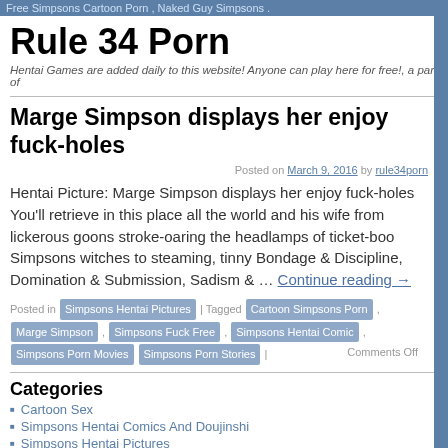Free Simpsons Cartoon Porn | Naked Guy Simpsons
Rule 34 Porn
Hentai Games are added daily to this website! Anyone can play here for free!, a part of
Marge Simpson displays her enjoy fuck-holes
Posted on March 9, 2016 by rule34porn
Hentai Picture: Marge Simpson displays her enjoy fuck-holes You'll retrieve in this place all the world and his wife from lickerous goons stroke-oaring the headlamps of ticket-boo Simpsons witches to steaming, tinny Bondage & Discipline, Domination & Submission, Sadism & … Continue reading →
Posted in Simpsons Hentai Pictures | Tagged Cartoon Simpsons Porn, Marge Simpson, Simpsons Fuck Free, Simpsons Hentai Comic, Simpsons Porn Movies, Simpsons Porn Stories | Comments Off
Categories
Cartoon Sex
Simpsons Hentai Comics And Doujinshi
Simpsons Hentai Pictures